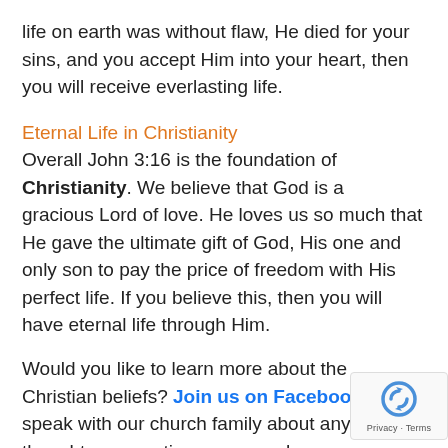life on earth was without flaw, He died for your sins, and you accept Him into your heart, then you will receive everlasting life.
Eternal Life in Christianity
Overall John 3:16 is the foundation of Christianity. We believe that God is a gracious Lord of love. He loves us so much that He gave the ultimate gift of God, His one and only son to pay the price of freedom with His perfect life. If you believe this, then you will have eternal life through Him.
Would you like to learn more about the Christian beliefs? Join us on Facebook to speak with our church family about any thoughts or questions you may have.